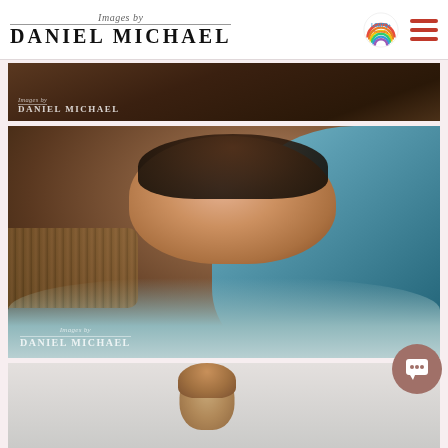Images by Daniel Michael — website header with logo, LGBTQ+ Friendly badge, and hamburger menu
[Figure (photo): Partial view of a dark brown toned photo with 'Images by Daniel Michael' watermark logo at bottom left]
[Figure (photo): Close-up newborn baby photo: sleeping/smiling baby wrapped in blue knit blanket nestled in a basket with fluffy white bedding, with 'Images by Daniel Michael' watermark at bottom left]
[Figure (photo): Partial view of a portrait photo showing top of a person's head with reddish-brown curly hair against a light grey background]
[Figure (other): Chat support floating button (speech bubble icon) in the lower right corner]